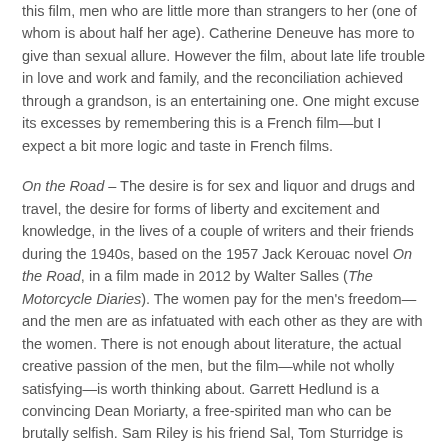this film, men who are little more than strangers to her (one of whom is about half her age). Catherine Deneuve has more to give than sexual allure. However the film, about late life trouble in love and work and family, and the reconciliation achieved through a grandson, is an entertaining one. One might excuse its excesses by remembering this is a French film—but I expect a bit more logic and taste in French films.
On the Road – The desire is for sex and liquor and drugs and travel, the desire for forms of liberty and excitement and knowledge, in the lives of a couple of writers and their friends during the 1940s, based on the 1957 Jack Kerouac novel On the Road, in a film made in 2012 by Walter Salles (The Motorcycle Diaries). The women pay for the men's freedom—and the men are as infatuated with each other as they are with the women. There is not enough about literature, the actual creative passion of the men, but the film—while not wholly satisfying—is worth thinking about. Garrett Hedlund is a convincing Dean Moriarty, a free-spirited man who can be brutally selfish. Sam Riley is his friend Sal, Tom Sturridge is Carlo, and Viggo Mortensen is Old